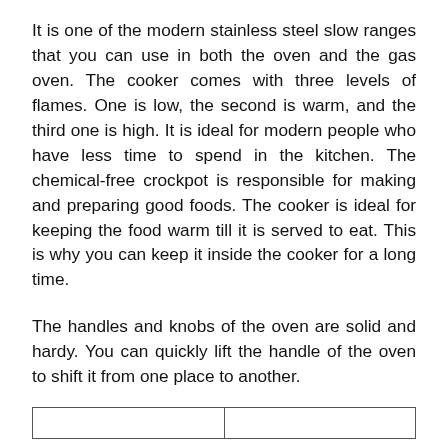It is one of the modern stainless steel slow ranges that you can use in both the oven and the gas oven. The cooker comes with three levels of flames. One is low, the second is warm, and the third one is high. It is ideal for modern people who have less time to spend in the kitchen. The chemical-free crockpot is responsible for making and preparing good foods. The cooker is ideal for keeping the food warm till it is served to eat. This is why you can keep it inside the cooker for a long time.
The handles and knobs of the oven are solid and hardy. You can quickly lift the handle of the oven to shift it from one place to another.
|  |  |